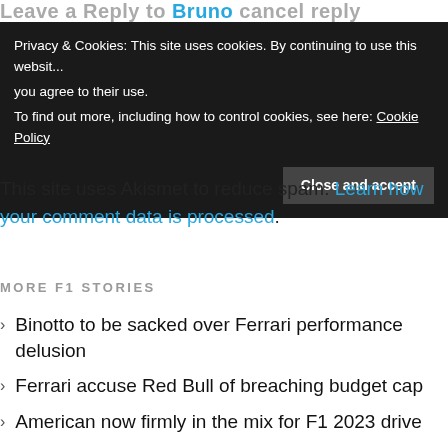Leave a Reply to Bruno cancel reply
Privacy & Cookies: This site uses cookies. By continuing to use this website, you agree to their use.
To find out more, including how to control cookies, see here: Cookie Policy
Close and accept
This site uses Akismet to reduce spam. Learn how your comment data is processed.
MORE F1 STORIES
Binotto to be sacked over Ferrari performance delusion
Ferrari accuse Red Bull of breaching budget cap
American now firmly in the mix for F1 2023 drive
Hamilton insists on F1 making big decision on new GP